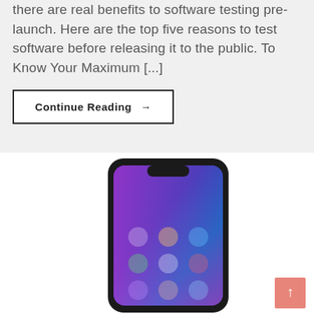there are real benefits to software testing pre-launch. Here are the top five reasons to test software before releasing it to the public. To Know Your Maximum [...]
Continue Reading →
[Figure (photo): A smartphone (appears to be iPhone X style) showing a colorful home screen with app icons, against a white background. A pink/salmon colored scroll-to-top button with an upward arrow is visible in the bottom right corner.]